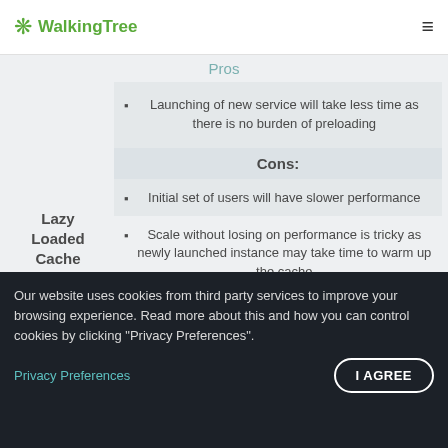WalkingTree
Pros
Lazy Loaded Cache
Launching of new service will take less time as there is no burden of preloading
Cons:
Initial set of users will have slower performance
Scale without losing on performance is tricky as newly launched instance may take time to warm up the cache
Distributed Cache
Our website uses cookies from third party services to improve your browsing experience. Read more about this and how you can control cookies by clicking "Privacy Preferences".
Privacy Preferences
I AGREE